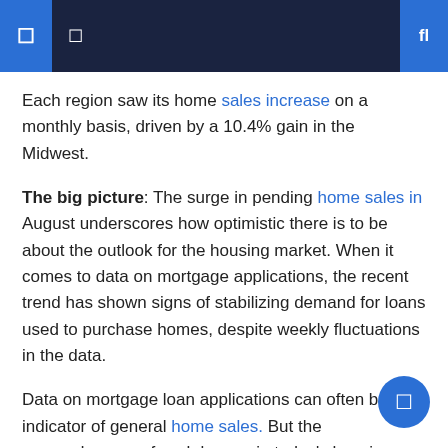Each region saw its home sales increase on a monthly basis, driven by a 10.4% gain in the Midwest.
The big picture: The surge in pending home sales in August underscores how optimistic there is to be about the outlook for the housing market. When it comes to data on mortgage applications, the recent trend has shown signs of stabilizing demand for loans used to purchase homes, despite weekly fluctuations in the data.
Data on mortgage loan applications can often be an indicator of general home sales. But the preponderance of cash buyers in today's housing market means that data may miss much of the housing demand right now, according to Ian Shepherdson, chief economist at Pantheon Macroeconomics.